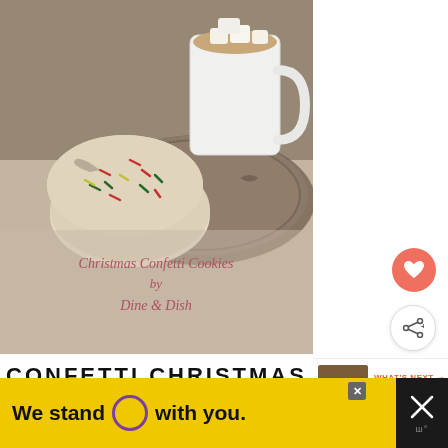[Figure (photo): Photo of Christmas confetti cookies on a decorative plate with a white mug of hot cocoa with marshmallows, on a linen surface. Text overlay reads 'Christmas Confetti Cookies by Dine & Dish']
Christmas Confetti Cookies by Dine & Dish
CONFETTI CHRISTMAS
[Figure (photo): What's Next thumbnail showing Chocolate Cowboy item]
WHAT'S NEXT → Chocolate Cowboy...
[Figure (photo): Advertisement banner: We stand O with you. on yellow background]